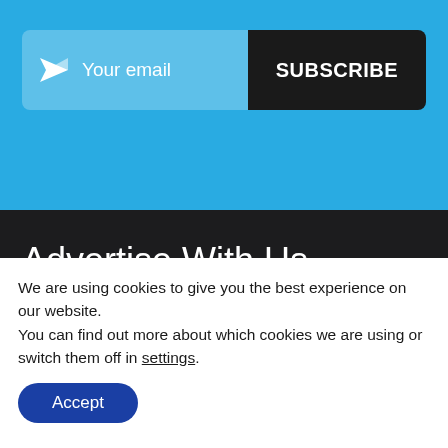[Figure (screenshot): Email subscription bar with paper plane icon, 'Your email' placeholder input field in light blue, and a dark 'SUBSCRIBE' button]
Advertise With Us
Unleash your brand and boost exposure to thousands of conveyancing professionals daily by securing an advertising space
We are using cookies to give you the best experience on our website.
You can find out more about which cookies we are using or switch them off in settings.
Accept